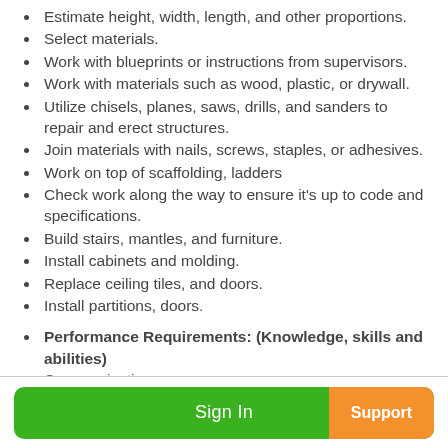Estimate height, width, length, and other proportions.
Select materials.
Work with blueprints or instructions from supervisors.
Work with materials such as wood, plastic, or drywall.
Utilize chisels, planes, saws, drills, and sanders to repair and erect structures.
Join materials with nails, screws, staples, or adhesives.
Work on top of scaffolding, ladders
Check work along the way to ensure it's up to code and specifications.
Build stairs, mantles, and furniture.
Install cabinets and molding.
Replace ceiling tiles, and doors.
Install partitions, doors.
Performance Requirements: (Knowledge, skills and abilities)
Communication-
Sign In  Support